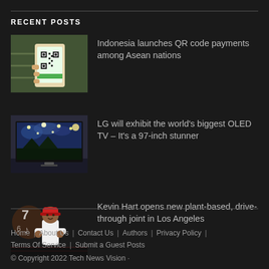RECENT POSTS
Indonesia launches QR code payments among Asean nations
LG will exhibit the world's biggest OLED TV – It's a 97-inch stunner
Kevin Hart opens new plant-based, drive-through joint in Los Angeles
Home | About Us | Contact Us | Authors | Privacy Policy | Terms Of Service | Submit a Guest Posts
© Copyright 2022 Tech News Vision ·